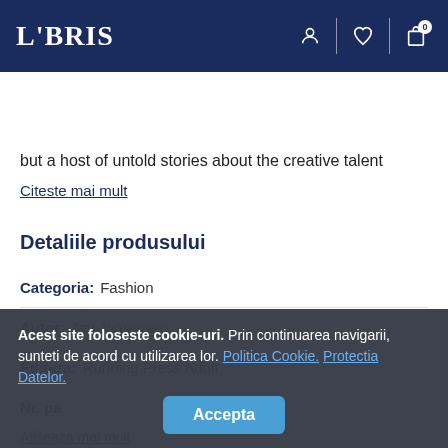LIBRIS
Cauta printre rafturile noastre
but a host of untold stories about the creative talent
Citeste mai mult
Detaliile produsului
Categoria: Fashion
Autor: Jay Jorgensen
Editura: Running Press Adult
Acest site foloseste cookie-uri. Prin continuarea navigarii, sunteti de acord cu utilizarea lor. Politica Cookie. Protectia Datelor.